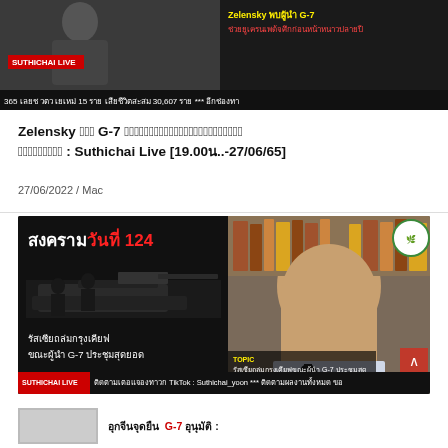[Figure (screenshot): Top video banner showing Suthichai Live broadcast with Thai news ticker and red text overlay about Zelensky and G-7. Text includes '365 เลยช วตว เยเหม่ 15 ราย เสียชีวิตสะสม 30,607 ราย *** อีกช่องทา']
Zelensky พบผู้นำ G-7 เขียงหน้าตัดสินใจอาวุธมหาอาณาจักรอุ้มยูเครน : Suthichai Live [19.00น.-27/06/65]
27/06/2022 / Mac
[Figure (screenshot): Second video thumbnail showing Suthichai Live with Thai text 'สงครามวันที่ 124' in white and red, tank silhouette, subtitles about Russia bombing Kyiv and G-7 summit, and an elderly Thai man (Suthichai Yoon) seated at a microphone in front of bookshelves. Bottom ticker reads: ติดตามเตอแจองทาวก TikTok : Suthichai_yoon *** ติดตามผลงานทั้งหมด ขอ]
[Figure (screenshot): Partial bottom article thumbnail with Thai text and G-7 reference]